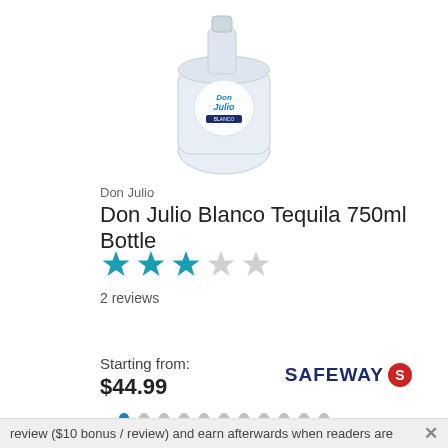[Figure (photo): Don Julio Blanco Tequila 750ml bottle, round glass bottle with white/silver label, partially cropped at top]
Don Julio
Don Julio Blanco Tequila 750ml Bottle
[Figure (other): Star rating: 3 out of 5 stars, 3 filled teal stars and 2 empty/gray stars]
2 reviews
Starting from:
$44.99
[Figure (logo): Safeway logo: bold dark blue SAFEWAY text with red circular S icon]
[Figure (other): Pagination dots: 11 dots, first dot is filled blue, rest are gray]
review ($10 bonus / review) and earn afterwards when readers are